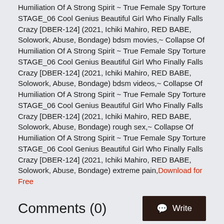Humiliation Of A Strong Spirit ~ True Female Spy Torture STAGE_06 Cool Genius Beautiful Girl Who Finally Falls Crazy [DBER-124] (2021, Ichiki Mahiro, RED BABE, Solowork, Abuse, Bondage) bdsm movies,~ Collapse Of Humiliation Of A Strong Spirit ~ True Female Spy Torture STAGE_06 Cool Genius Beautiful Girl Who Finally Falls Crazy [DBER-124] (2021, Ichiki Mahiro, RED BABE, Solowork, Abuse, Bondage) bdsm videos,~ Collapse Of Humiliation Of A Strong Spirit ~ True Female Spy Torture STAGE_06 Cool Genius Beautiful Girl Who Finally Falls Crazy [DBER-124] (2021, Ichiki Mahiro, RED BABE, Solowork, Abuse, Bondage) rough sex,~ Collapse Of Humiliation Of A Strong Spirit ~ True Female Spy Torture STAGE_06 Cool Genius Beautiful Girl Who Finally Falls Crazy [DBER-124] (2021, Ichiki Mahiro, RED BABE, Solowork, Abuse, Bondage) extreme pain,Download for Free
Comments (0)
[Figure (logo): The Bondage Files logo in red with outlined letters]